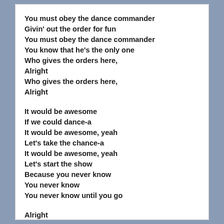You must obey the dance commander
Givin' out the order for fun
You must obey the dance commander
You know that he's the only one
Who gives the orders here,
Alright
Who gives the orders here,
Alright

It would be awesome
If we could dance-a
It would be awesome, yeah
Let's take the chance-a
It would be awesome, yeah
Let's start the show
Because you never know
You never know
You never know until you go

Alright
Alright

...who gives the orders here
Alright
...who gives the orders here
Alright

The disco...